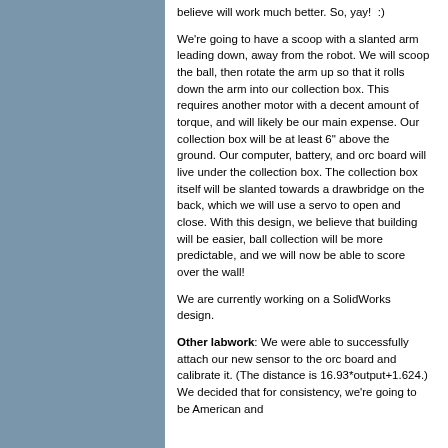believe will work much better. So, yay!  :)
We're going to have a scoop with a slanted arm leading down, away from the robot. We will scoop the ball, then rotate the arm up so that it rolls down the arm into our collection box. This requires another motor with a decent amount of torque, and will likely be our main expense. Our collection box will be at least 6" above the ground. Our computer, battery, and orc board will live under the collection box. The collection box itself will be slanted towards a drawbridge on the back, which we will use a servo to open and close. With this design, we believe that building will be easier, ball collection will be more predictable, and we will now be able to score over the wall!
We are currently working on a SolidWorks design.
Other labwork: We were able to successfully attach our new sensor to the orc board and calibrate it. (The distance is 16.93*output+1.624.) We decided that for consistency, we're going to be American and